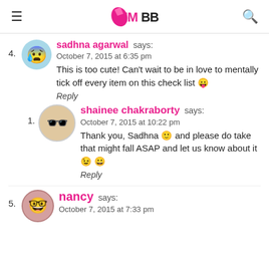IMBB logo, hamburger menu, search icon
4. sadhna agarwal says: October 7, 2015 at 6:35 pm — This is too cute! Can't wait to be in love to mentally tick off every item on this check list 😛 Reply
1. shainee chakraborty says: October 7, 2015 at 10:22 pm — Thank you, Sadhna 🙂 and please do take that might fall ASAP and let us know about it 😉 😀 Reply
5. nancy says: October 7, 2015 at 7:33 pm